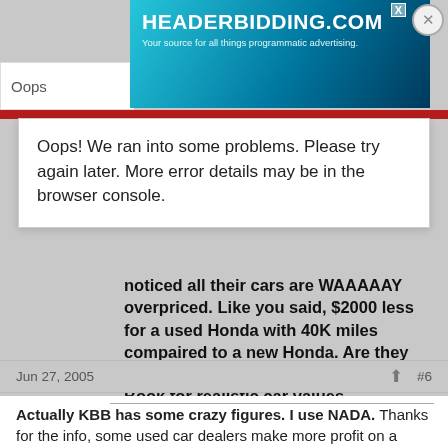[Figure (screenshot): HeaderBidding.com advertisement banner with teal/blue gradient background, white bold text 'HEADERBIDDING.COM' and subtitle 'Your source for all things programmatic advertising.' with an X close button.]
Oops
Oops! We ran into some problems. Please try again later. More error details may be in the browser console.
noticed all their cars are WAAAAAY overpriced. Like you said, $2000 less for a used Honda with 40K miles compaired to a new Honda. Are they nuts ??? [Mad] Go to Kelly Blue Book for realistic car values.
Actually KBB has some crazy figures. I use NADA.
Mr Nice
Jun 27, 2005
#6
Actually KBB has some crazy figures. I use NADA. Thanks for the info, some used car dealers make more profit on a used